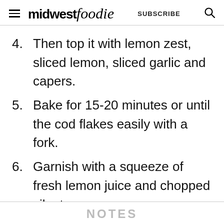midwest foodie SUBSCRIBE
4. Then top it with lemon zest, sliced lemon, sliced garlic and capers.
5. Bake for 15-20 minutes or until the cod flakes easily with a fork.
6. Garnish with a squeeze of fresh lemon juice and chopped cilantro.
NOTES